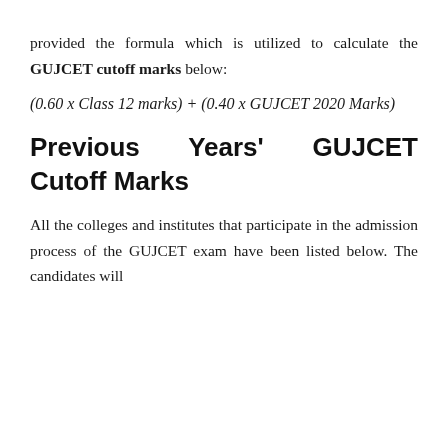provided the formula which is utilized to calculate the GUJCET cutoff marks below:
Previous Years' GUJCET Cutoff Marks
All the colleges and institutes that participate in the admission process of the GUJCET exam have been listed below. The candidates will